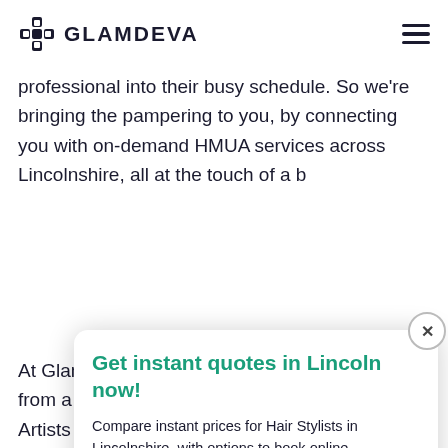GLAMDEVA
professional into their busy schedule. So we're bringing the pampering to you, by connecting you with on-demand HMUA services across Lincolnshire, all at the touch of a b
Get instant quotes in Lincoln now!
Compare instant prices for Hair Stylists in Lincolnshire, with options to book online.
GET INSTANT PRICES
At Glamdeva our customers can take their pick from a wide selection of Party Hair & Makeup Artists (HMUA)